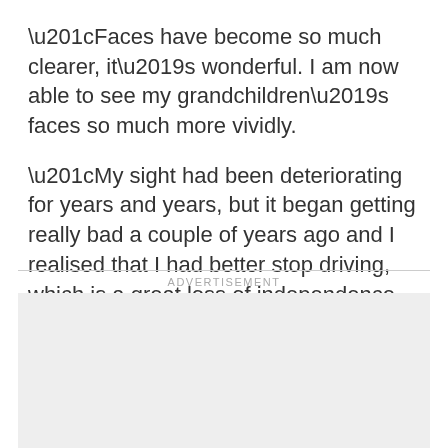“Faces have become so much clearer, it’s wonderful. I am now able to see my grandchildren’s faces so much more vividly.
“My sight had been deteriorating for years and years, but it began getting really bad a couple of years ago and I realised that I had better stop driving, which is a great loss of independence.
ADVERTISEMENT